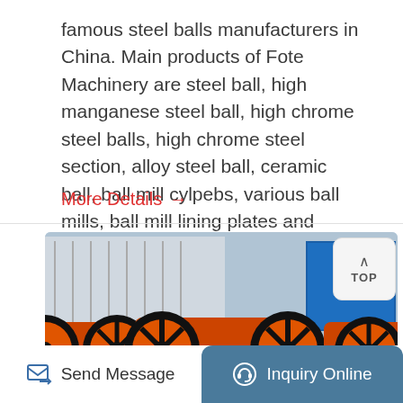famous steel balls manufacturers in China. Main products of Fote Machinery are steel ball, high manganese steel ball, high chrome steel balls, high chrome steel section, alloy steel ball, ceramic ball, ball mill cylpebs, various ball mills, ball mill lining plates and other ball mill accessories.
More Details →
[Figure (photo): Photo of orange industrial ball mill machines lined up in a row outdoors, with black tires/wheels visible and blue structures in the background.]
[Figure (other): TOP button with upward chevron arrow in a rounded square button on the right side]
Send Message
Inquiry Online